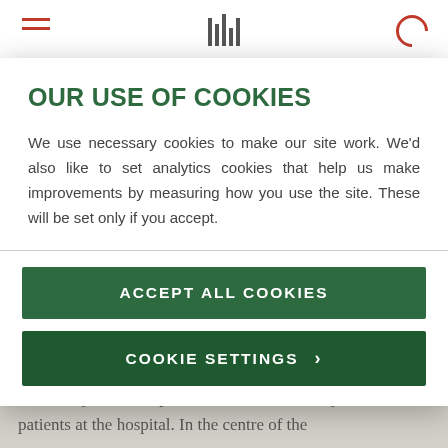Navigation bar with menu icon, barcode icon, and search icon
OUR USE OF COOKIES
We use necessary cookies to make our site work. We'd also like to set analytics cookies that help us make improvements by measuring how you use the site. These will be set only if you accept.
ACCEPT ALL COOKIES
COOKIE SETTINGS
marked by scroll shaped headstones, chosen by the staff and patients at the hospital. In the centre of the